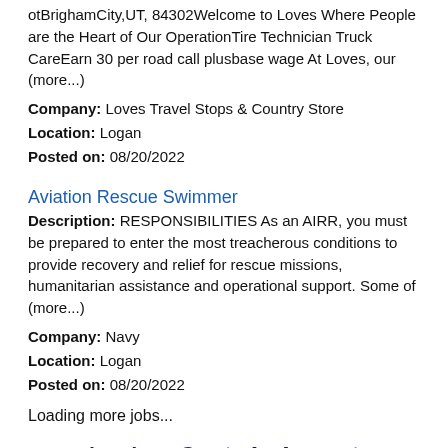otBrighamCity,UT, 84302Welcome to Loves Where People are the Heart of Our OperationTire Technician Truck CareEarn 30 per road call plusbase wage At Loves, our (more...)
Company: Loves Travel Stops & Country Store
Location: Logan
Posted on: 08/20/2022
Aviation Rescue Swimmer
Description: RESPONSIBILITIES As an AIRR, you must be prepared to enter the most treacherous conditions to provide recovery and relief for rescue missions, humanitarian assistance and operational support. Some of (more...)
Company: Navy
Location: Logan
Posted on: 08/20/2022
Loading more jobs...
Log In or Create An Account
Username:
Password: